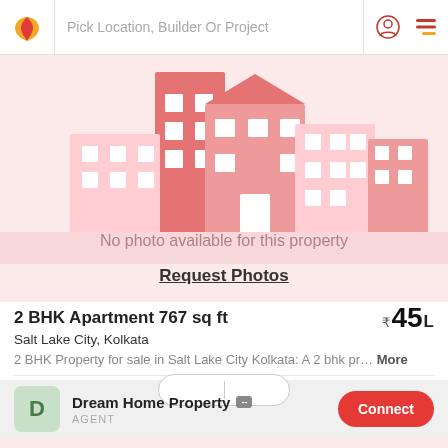Pick Location, Builder Or Project
[Figure (illustration): Real estate app screenshot showing a property listing with a building illustration placeholder image saying 'No photo available for this property' and a 'Request Photos' link]
No photo available for this property
Request Photos
2 BHK Apartment 767 sq ft
₹45 L
Salt Lake City, Kolkata
2 BHK Property for sale in Salt Lake City Kolkata: A 2 bhk pr… More
Dream Home Property - AGENT
Connect